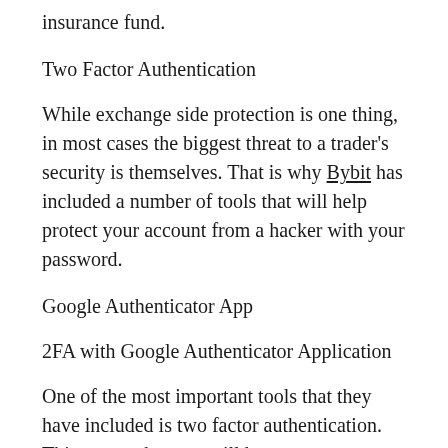insurance fund.
Two Factor Authentication
While exchange side protection is one thing, in most cases the biggest threat to a trader's security is themselves. That is why Bybit has included a number of tools that will help protect your account from a hacker with your password.
Google Authenticator App
2FA with Google Authenticator Application
One of the most important tools that they have included is two factor authentication. This means that you will have to use your phone in order to authenticate into your account or send transactions. You have to enable google